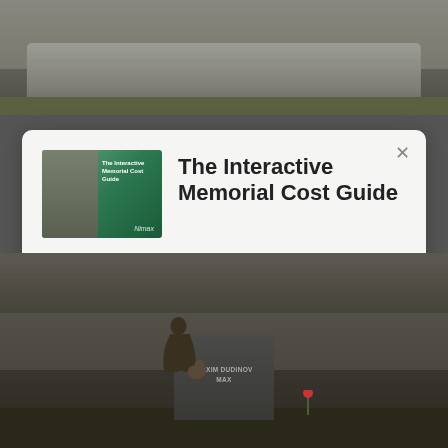[Figure (photo): Photograph of a granite memorial headstone with grass in the background, top portion visible at top of page]
[Figure (screenshot): Modal dialog overlay with white rounded card containing book thumbnail, title, description, and CTA button]
The Interactive Memorial Cost Guide
It's like a customized tour of memorial costs that only focuses on the personalization options that matter to you.
Take Me to the Interactive Cost Guide
[Figure (photo): Photograph at cemetery showing a person kneeling at a dark granite headstone inscribed MAXIM DUDINOV MAX, with a bronze sculpture nearby and flowers]